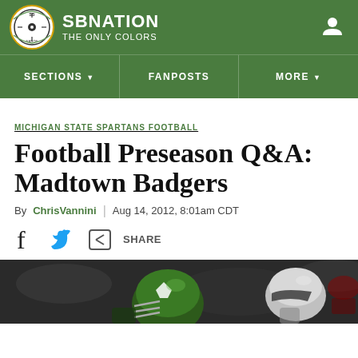SBNATION — THE ONLY COLORS
SECTIONS | FANPOSTS | MORE
MICHIGAN STATE SPARTANS FOOTBALL
Football Preseason Q&A: Madtown Badgers
By ChrisVannini | Aug 14, 2012, 8:01am CDT
SHARE
[Figure (photo): Michigan State football helmets and players during a game, dark background]